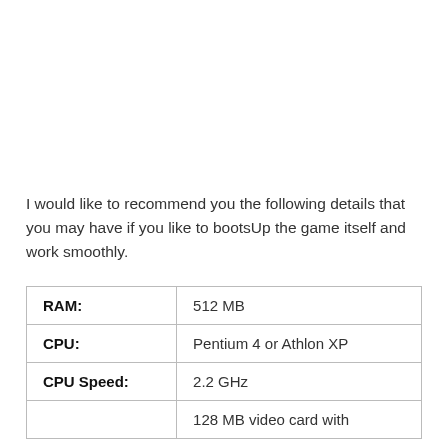I would like to recommend you the following details that you may have if you like to bootsUp the game itself and work smoothly.
|  |  |
| --- | --- |
| RAM: | 512 MB |
| CPU: | Pentium 4 or Athlon XP |
| CPU Speed: | 2.2 GHz |
|  | 128 MB video card with |